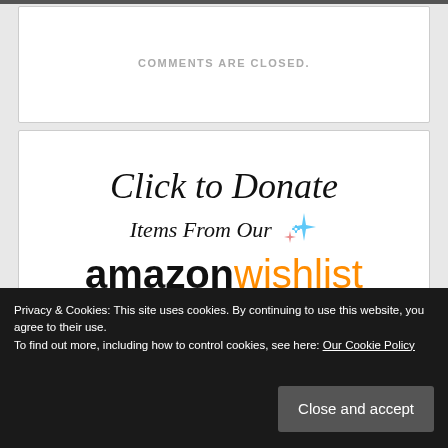COMMENTS ARE CLOSED.
[Figure (illustration): Click to Donate Items From Our Amazon Wishlist promotional image with Amazon logo and sparkle decorations]
Privacy & Cookies: This site uses cookies. By continuing to use this website, you agree to their use.
To find out more, including how to control cookies, see here: Our Cookie Policy
Close and accept